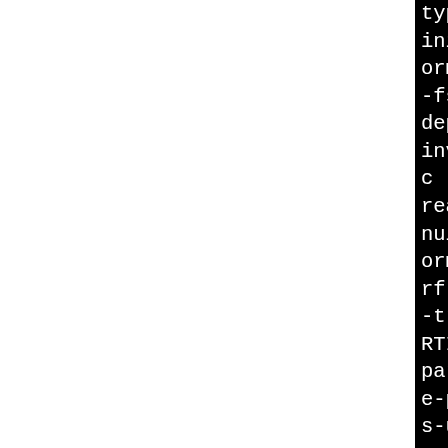type-limits -Wignored-qua init-self -Wpointer-arith ormat-security -fno-stric -fsigned-char -rdynamic - depth-1024 -Wnon-virtual-d invalid-offsetof -fno-buil c -fno-builtin-calloc -fno realloc -fno-builtin-free null-sentinel -O2 -fwrapv ormat -Werror=format-secur rf-4 -fno-debug-types-sect -tracking-assignments -g2 RTIFY_SOURCE=2 -fstack-pro param=ssp-buffer-size=4 -f e-pointer -march=i486 -fas s-unwind-tables -gdwarf-4 g-types-section -fvar-trac gnments -g2 -MT common/Mem lo -MD -MP -MF $depbase.Tp ommon/MemoryModel.lo commo odel.cc &&\ mv -f $depbase.Tpo $depbas libtool: compile: i486-plo + -DHAVE_CONFIG_H -I. -D